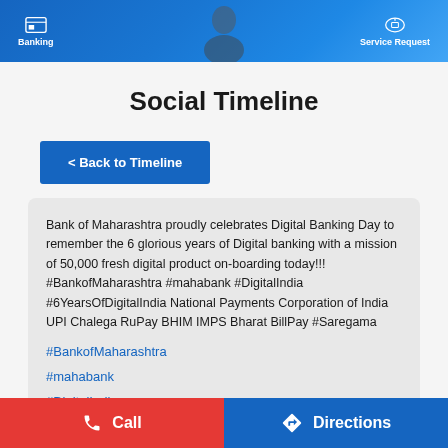[Figure (screenshot): Bank of Maharashtra app header banner with blue gradient background showing Banking and Service Request navigation items]
Social Timeline
< Back to Timeline
Bank of Maharashtra proudly celebrates Digital Banking Day to remember the 6 glorious years of Digital banking with a mission of 50,000 fresh digital product on-boarding today!!! #BankofMaharashtra #mahabank #DigitalIndia #6YearsOfDigitalIndia National Payments Corporation of India UPI Chalega RuPay BHIM IMPS Bharat BillPay #Saregama
#BankofMaharashtra
#mahabank
#DigitalIndia
Call   Directions